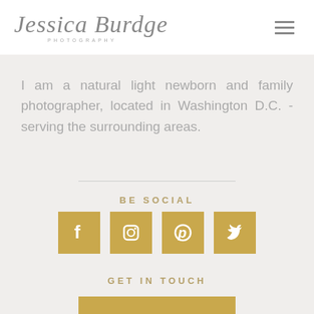Jessica Burdge Photography
I am a natural light newborn and family photographer, located in Washington D.C. - serving the surrounding areas.
BE SOCIAL
[Figure (illustration): Four gold square social media icons: Facebook, Instagram, Pinterest, Twitter]
GET IN TOUCH